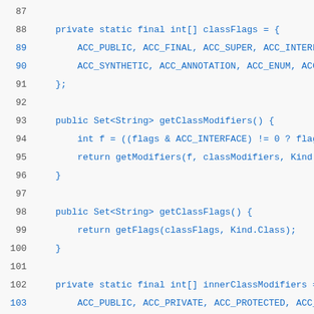Source code listing lines 87-116, showing Java class members: classFlags array, getClassModifiers(), getClassFlags(), innerClassModifiers array, innerClassFlags array, getInnerClassModifiers() method.